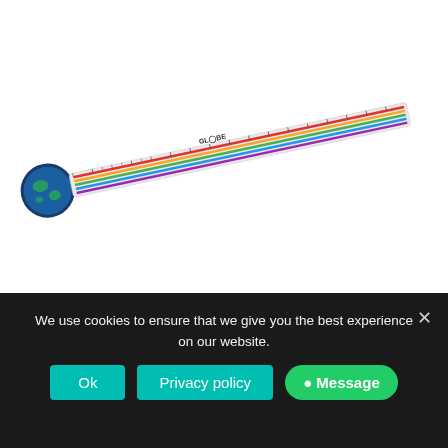[Figure (photo): A Loki 30 cm circle-shaped plastic ruler shown diagonally, with a circular globe graphic at the left end and colorful stripes along the ruler body. The word GLOBE is visible on the ruler.]
Loki 30 cm circle-shaped plastic ruler
We use cookies to ensure that we give you the best experience on our website.